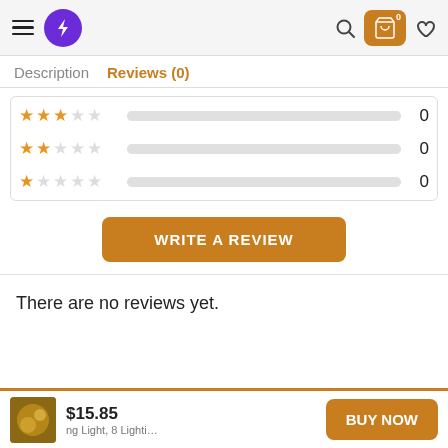[Figure (screenshot): E-commerce website header with hamburger menu, purple lightning bolt logo, search icon, orange shopping cart button with 0 badge, and heart icon]
Description   Reviews (0)
[Figure (infographic): Star rating breakdown showing 3-star row with empty bar and 0, 2-star row with empty bar and 0, 1-star row with empty bar and 0]
WRITE A REVIEW
There are no reviews yet.
$15.85
BUY NOW